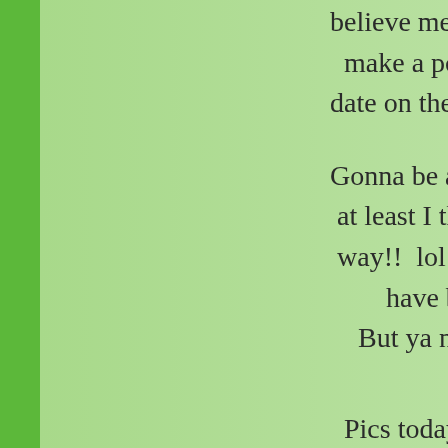believe me!!  but we do make a point of checking date on the calendar the
Gonna be a quiet day here at least I think and hope way!!  lol  since the last have been busy. But ya never know
Pics today are still from Fall golf cart tour of Ch
So on with my Than